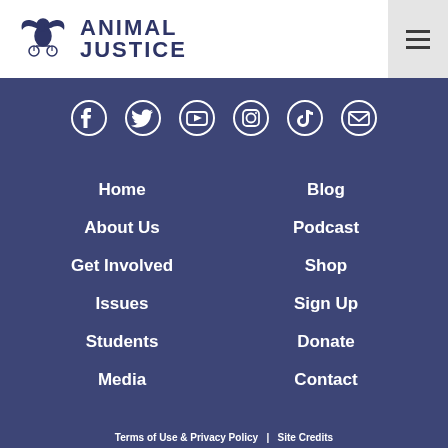[Figure (logo): Animal Justice logo with bird/scales icon and bold navy text reading ANIMAL JUSTICE]
[Figure (infographic): Row of 6 social media icons: Facebook, Twitter, YouTube, Instagram, TikTok, Email (envelope). All white on navy background.]
Home
Blog
About Us
Podcast
Get Involved
Shop
Issues
Sign Up
Students
Donate
Media
Contact
Terms of Use & Privacy Policy  |  Site Credits